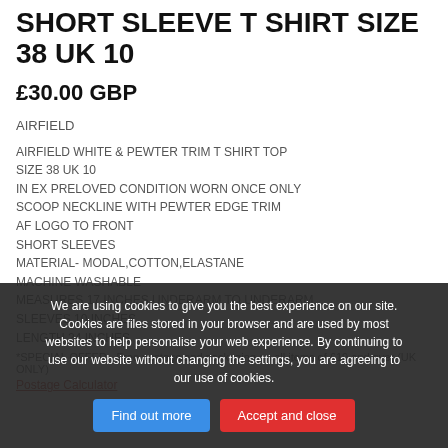SHORT SLEEVE T SHIRT SIZE 38 UK 10
£30.00 GBP
AIRFIELD
AIRFIELD WHITE & PEWTER TRIM T SHIRT TOP
SIZE 38 UK 10
IN EX PRELOVED CONDITION WORN ONCE ONLY
SCOOP NECKLINE WITH PEWTER EDGE TRIM
AF LOGO TO FRONT
SHORT SLEEVES
MATERIAL- MODAL,COTTON,ELASTANE
MACHINE WASHABLE
MEASURES 17 INCHES UNDERARM TO UNDERARM
SLEEVES 10 INCHES
LENGTH 24 INCHES
*SPECIAL OFFER - Free postage and packaging on all items of £19 and over (UK ONLY)
Postage Calculator